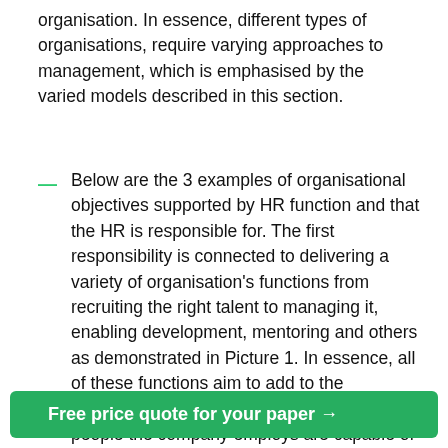organisation. In essence, different types of organisations, require varying approaches to management, which is emphasised by the varied models described in this section.
Below are the 3 examples of organisational objectives supported by HR function and that the HR is responsible for. The first responsibility is connected to delivering a variety of organisation's functions from recruiting the right talent to managing it, enabling development, mentoring and others as demonstrated in Picture 1. In essence, all of these functions aim to add to the organisation's performance – ensure that the people the company employs are capable of completing the tasks and developing systems and policies that will help them work and outline the culture of this particular
Free price quote for your paper →